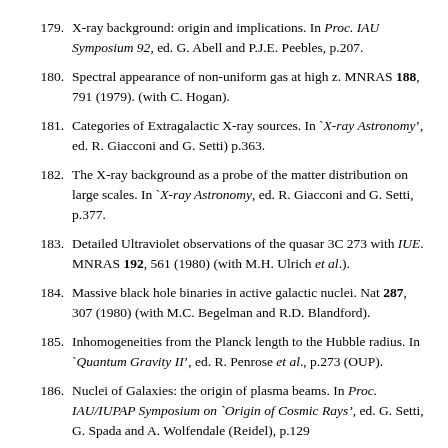179. X-ray background: origin and implications. In Proc. IAU Symposium 92, ed. G. Abell and P.J.E. Peebles, p.207.
180. Spectral appearance of non-uniform gas at high z. MNRAS 188, 791 (1979). (with C. Hogan).
181. Categories of Extragalactic X-ray sources. In `X-ray Astronomy', ed. R. Giacconi and G. Setti) p.363.
182. The X-ray background as a probe of the matter distribution on large scales. In `X-ray Astronomy, ed. R. Giacconi and G. Setti, p.377.
183. Detailed Ultraviolet observations of the quasar 3C 273 with IUE. MNRAS 192, 561 (1980) (with M.H. Ulrich et al.).
184. Massive black hole binaries in active galactic nuclei. Nat 287, 307 (1980) (with M.C. Begelman and R.D. Blandford).
185. Inhomogeneities from the Planck length to the Hubble radius. In `Quantum Gravity II', ed. R. Penrose et al., p.273 (OUP).
186. Nuclei of Galaxies: the origin of plasma beams. In Proc. IAU/IUPAP Symposium on `Origin of Cosmic Rays', ed. G. Setti, G. Spada and A. Wolfendale (Reidel), p.129.